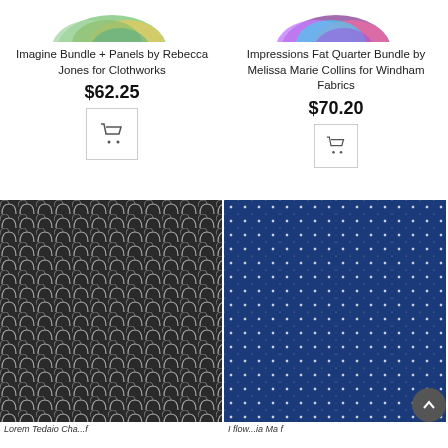[Figure (photo): Product image top portion of Imagine Bundle + Panels fabric bundle - colorful floral/nature fabric fan]
Imagine Bundle + Panels by Rebecca Jones for Clothworks
$62.25
[Figure (illustration): Shopping cart icon button]
[Figure (photo): Product image top portion of Impressions Fat Quarter Bundle - colorful fabric fan]
Impressions Fat Quarter Bundle by Melissa Marie Collins for Windham Fabrics
$70.20
[Figure (illustration): Shopping cart icon button]
[Figure (photo): Dark gray/black fabric with repeating arch/U-shaped pattern in white]
[Figure (photo): Navy blue fabric with small white star/dot repeating pattern]
Lorem Tedaio Cha...f
I flow...ia Ma f